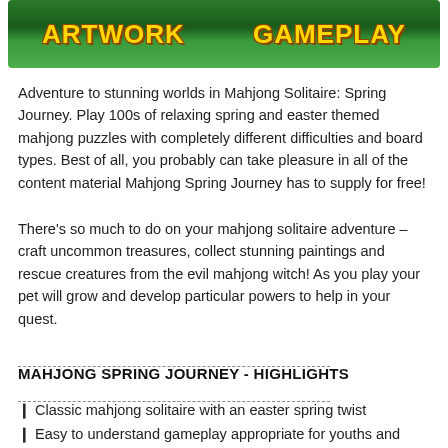[Figure (illustration): Colorful game banner with green grass background showing 'ARTWORK' text on left and 'GAMEPLAY' text on right, both in yellow stylized font with decorative Easter/spring themed elements]
Adventure to stunning worlds in Mahjong Solitaire: Spring Journey. Play 100s of relaxing spring and easter themed mahjong puzzles with completely different difficulties and board types. Best of all, you probably can take pleasure in all of the content material Mahjong Spring Journey has to supply for free!
There's so much to do on your mahjong solitaire adventure – craft uncommon treasures, collect stunning paintings and rescue creatures from the evil mahjong witch! As you play your pet will grow and develop particular powers to help in your quest.
──────────────────────────────────────────────────────────────────────────
MAHJONG SPRING JOURNEY - HIGHLIGHTS
──────────────────────────────────────────────────────────────────────────
❑ Classic mahjong solitaire with an easter spring twist
❑ Easy to understand gameplay appropriate for youths and adults